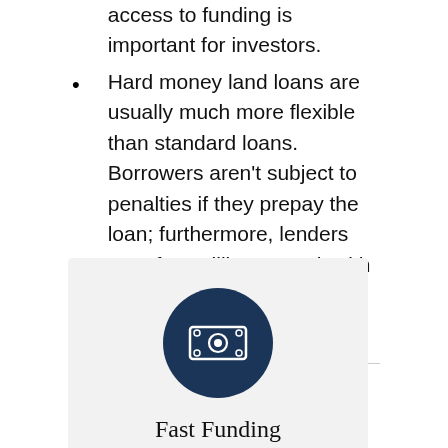access to funding is important for investors.
Hard money land loans are usually much more flexible than standard loans. Borrowers aren't subject to penalties if they prepay the loan; furthermore, lenders are often willing to work with borrowers to meet their specific needs.
[Figure (illustration): A dark navy circular icon containing a money/dollar bill symbol with a small circle in the center]
Fast Funding
Get funding faster with round the clock support